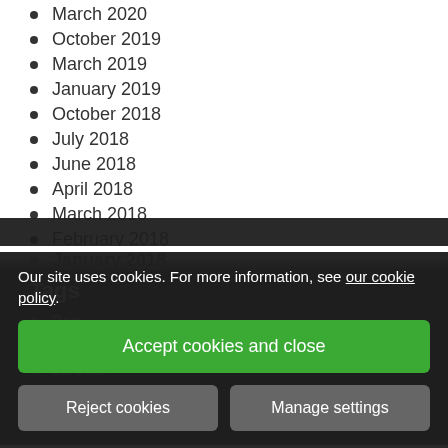March 2020
October 2019
March 2019
January 2019
October 2018
July 2018
June 2018
April 2018
March 2018
February 2018
January 2018
Tags
Ben
Car
careers
Car
Charity
Our site uses cookies. For more information, see our cookie policy.